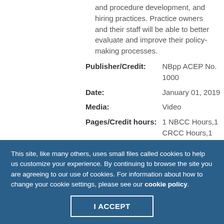and procedure development, and hiring practices. Practice owners and their staff will be able to better evaluate and improve their policy-making processes.
| Field | Value |
| --- | --- |
| Publisher/Credit: | NBpp ACEP No. 1000 |
| Date: | January 01, 2019 |
| Media: | Video |
| Pages/Credit hours: | 1 NBCC Hours,1 CRCC Hours,1 WA Hours,0 APT Hours,0 NAADAC |
This site, like many others, uses small files called cookies to help us customize your experience. By continuing to browse the site you are agreeing to our use of cookies. For information about how to change your cookie settings, please see our cookie policy.